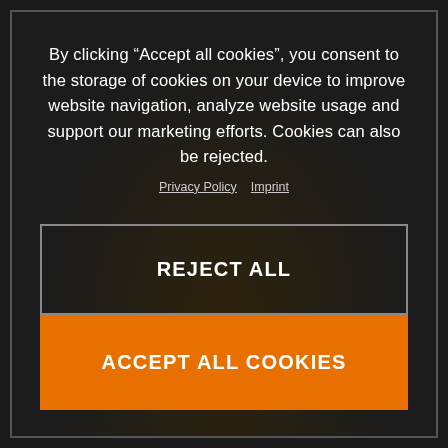By clicking “Accept all cookies”, you consent to the storage of cookies on your device to improve website navigation, analyze website usage and support our marketing efforts. Cookies can also be rejected.
Privacy Policy  Imprint
REJECT ALL
ACCEPT ALL COOKIES